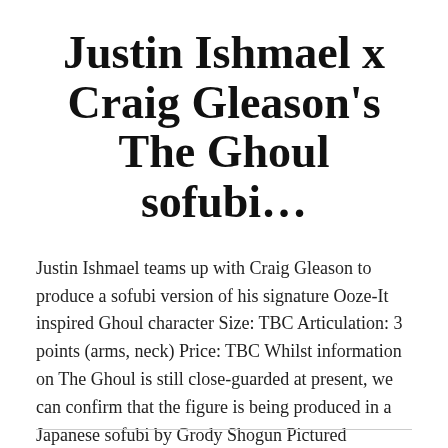Justin Ishmael x Craig Gleason's The Ghoul sofubi…
Justin Ishmael teams up with Craig Gleason to produce a sofubi version of his signature Ooze-It inspired Ghoul character Size: TBC Articulation: 3 points (arms, neck) Price: TBC Whilst information on The Ghoul is still close-guarded at present, we can confirm that the figure is being produced in a Japanese sofubi by Grody Shogun Pictured
Continue reading  →